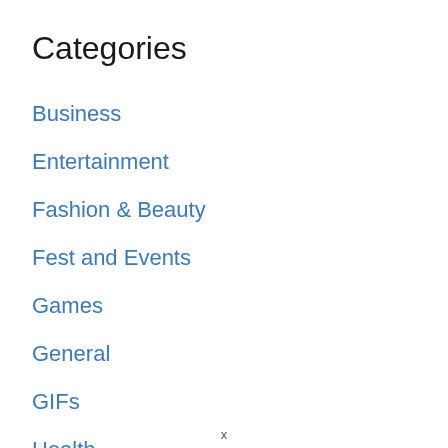Categories
Business
Entertainment
Fashion & Beauty
Fest and Events
Games
General
GIFs
Health
x